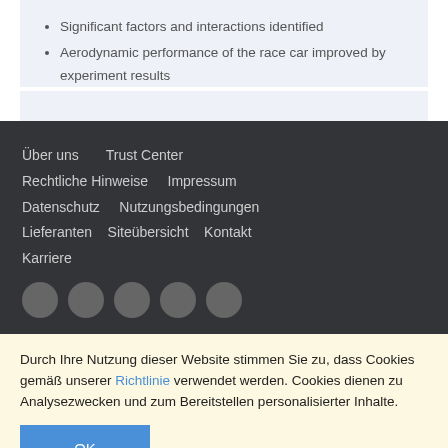Significant factors and interactions identified
Aerodynamic performance of the race car improved by experiment results
Über uns   Trust Center
Rechtliche Hinweise   Impressum
Datenschutz   Nutzungsbedingungen
Lieferanten   Siteübersicht   Kontakt
Karriere
[Figure (illustration): Five gray social media icon circles in a row]
Durch Ihre Nutzung dieser Website stimmen Sie zu, dass Cookies gemäß unserer Richtlinie verwendet werden. Cookies dienen zu Analysezwecken und zum Bereitstellen personalisierter Inhalte.
OK